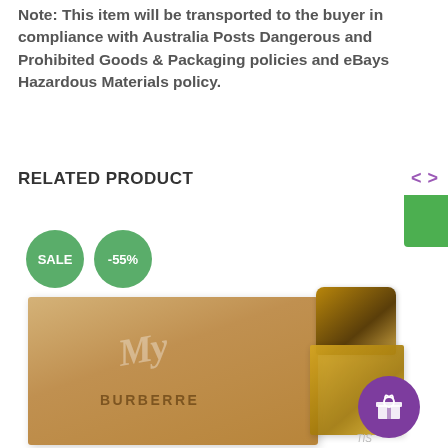Note: This item will be transported to the buyer in compliance with Australia Posts Dangerous and Prohibited Goods & Packaging policies and eBays Hazardous Materials policy.
RELATED PRODUCT
[Figure (photo): Product photo of My Burberry perfume box and bottle with SALE and -55% badge overlays, a purple gift icon button, and a green corner tag]
SALE -55%